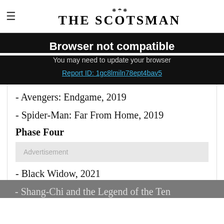THE SCOTSMAN
Browser not compatible
You may need to update your browser
Report ID: 1gc8lmiln78ept4bav5
- Avengers: Endgame, 2019
- Spider-Man: Far From Home, 2019
Phase Four
Advertisement
- Black Widow, 2021
- Shang-Chi and the Legend of the Ten